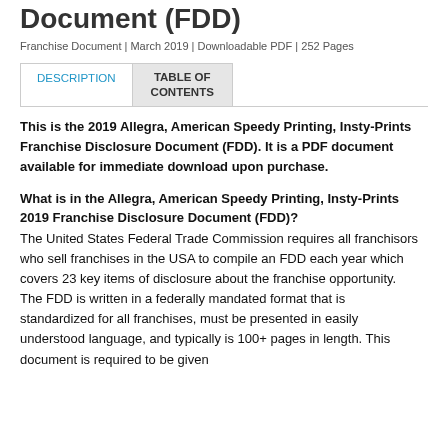Document (FDD)
Franchise Document | March 2019 | Downloadable PDF | 252 Pages
DESCRIPTION | TABLE OF CONTENTS
This is the 2019 Allegra, American Speedy Printing, Insty-Prints Franchise Disclosure Document (FDD). It is a PDF document available for immediate download upon purchase.
What is in the Allegra, American Speedy Printing, Insty-Prints 2019 Franchise Disclosure Document (FDD)?
The United States Federal Trade Commission requires all franchisors who sell franchises in the USA to compile an FDD each year which covers 23 key items of disclosure about the franchise opportunity. The FDD is written in a federally mandated format that is standardized for all franchises, must be presented in easily understood language, and typically is 100+ pages in length. This document is required to be given